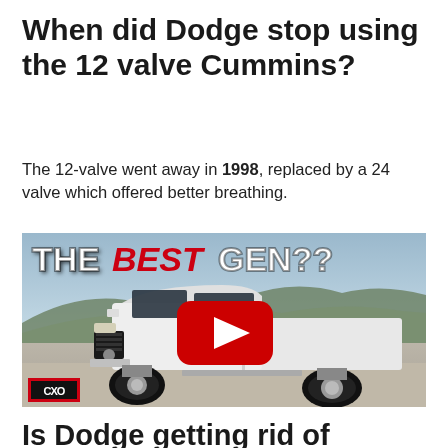When did Dodge stop using the 12 valve Cummins?
The 12-valve went away in 1998, replaced by a 24 valve which offered better breathing.
[Figure (screenshot): YouTube video thumbnail showing a lifted white Ram truck with text overlay 'THE BEST GEN??' with BEST in red italics, and a YouTube play button in the center. A logo in the bottom-left corner reads 'CXO'.]
Is Dodge getting rid of Cummins?